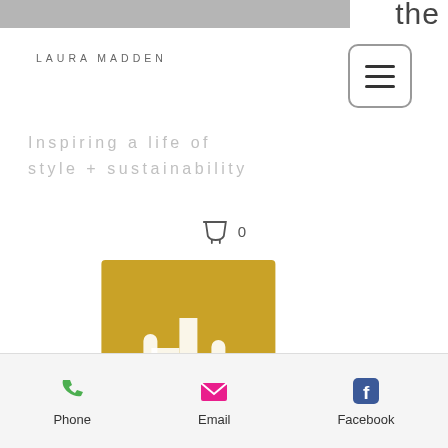the
LAURA MADDEN
Inspiring a life of style + sustainability
0
[Figure (logo): Gold Business Leader badge with saguaro cactus design]
[Figure (logo): Arizona Costume Institute grey badge with logo]
[Figure (logo): Red script/cursive logo mark]
Phone  Email  Facebook